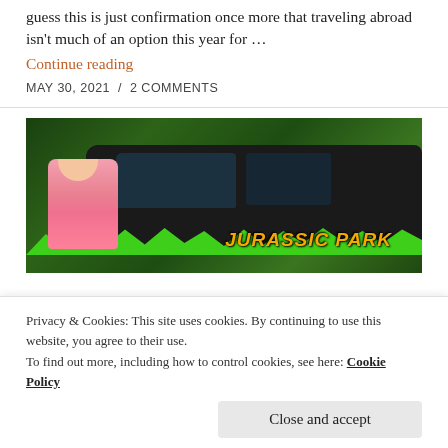guess this is just confirmation once more that traveling abroad isn't much of an option this year for …
Continue reading
MAY 30, 2021 / 2 COMMENTS
[Figure (photo): A woman waving in front of a Jurassic Park branded green-and-black SUV, surrounded by tropical greenery.]
Privacy & Cookies: This site uses cookies. By continuing to use this website, you agree to their use.
To find out more, including how to control cookies, see here: Cookie Policy
Close and accept
RIGHT NOW